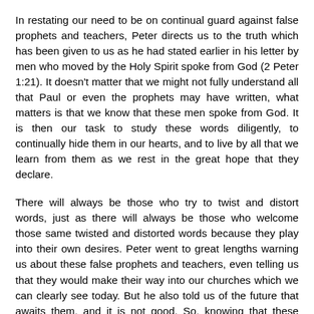In restating our need to be on continual guard against false prophets and teachers, Peter directs us to the truth which has been given to us as he had stated earlier in his letter by men who moved by the Holy Spirit spoke from God (2 Peter 1:21). It doesn't matter that we might not fully understand all that Paul or even the prophets may have written, what matters is that we know that these men spoke from God. It is then our task to study these words diligently, to continually hide them in our hearts, and to live by all that we learn from them as we rest in the great hope that they declare.
There will always be those who try to twist and distort words, just as there will always be those who welcome those same twisted and distorted words because they play into their own desires. Peter went to great lengths warning us about these false prophets and teachers, even telling us that they would make their way into our churches which we can clearly see today. But he also told us of the future that awaits them, and it is not good. So, knowing that these people are out there and that they are going to make every effort to wiggle their way into our lives, we are to be even more diligent to run to the real source of truth given to us by God through His true